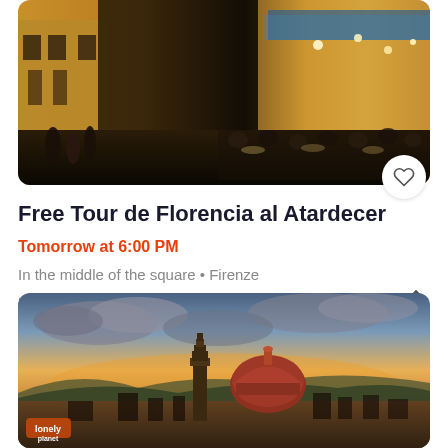[Figure (photo): Evening crowd scene in a Florentine piazza with warm ambient lighting, people dining and walking outdoors, historic buildings in background]
Free Tour de Florencia al Atardecer
Tomorrow at 6:00 PM
In the middle of the square • Firenze
Free
[Figure (photo): Aerial panoramic view of Florence skyline at sunset with dramatic clouds, featuring the Cathedral dome (Duomo) and Giotto's Campanile prominently]